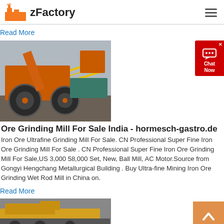zFactory
Read More
[Figure (photo): Orange industrial ore grinding/crushing mill machinery at a mining site]
[Figure (other): Chat Now button - red rectangle with chat bubble icon]
Ore Grinding Mill For Sale India - hormesch-gastro.de
Iron Ore Ultrafine Grinding Mill For Sale. CN Professional Super Fine Iron Ore Grinding Mill For Sale . CN Professional Super Fine Iron Ore Grinding Mill For Sale,US 3,000 58,000 Set, New, Ball Mill, AC Motor.Source from Gongyi Hengchang Metallurgical Building . Buy Ultra-fine Mining Iron Ore Grinding Wet Rod Mill in China on.
Read More
[Figure (photo): Yellow/orange industrial machinery, second article image]
[Figure (other): Back to top orange button with upward chevron arrow]